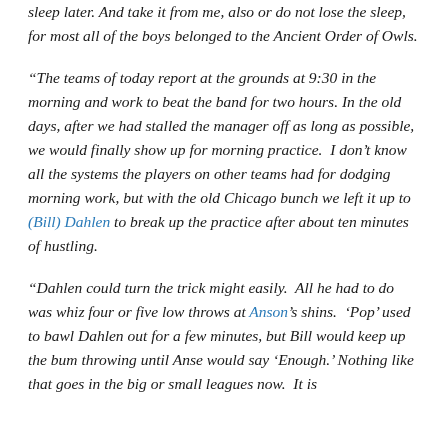sleep later. And take it from me, also or do not lose the sleep, for most all of the boys belonged to the Ancient Order of Owls.
“The teams of today report at the grounds at 9:30 in the morning and work to beat the band for two hours. In the old days, after we had stalled the manager off as long as possible, we would finally show up for morning practice.  I don’t know all the systems the players on other teams had for dodging morning work, but with the old Chicago bunch we left it up to (Bill) Dahlen to break up the practice after about ten minutes of hustling.
“Dahlen could turn the trick might easily.  All he had to do was whiz four or five low throws at Anson’s shins.  ‘Pop’ used to bawl Dahlen out for a few minutes, but Bill would keep up the bum throwing until Anse would say ‘Enough.’ Nothing like that goes in the big or small leagues now.  It is